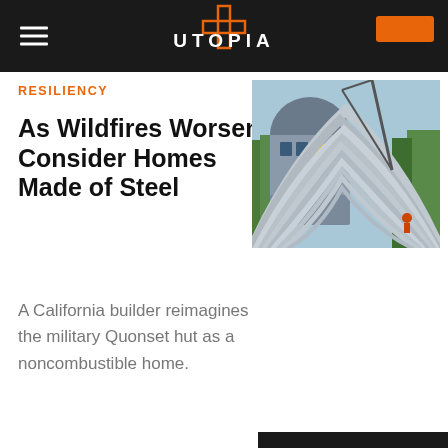UTOPIA
RESILIENCY
As Wildfires Worsen, Consider Homes Made of Steel
[Figure (photo): A construction site showing steel Quonset-style arch structures being assembled, with curved corrugated steel panels and a crane visible, trees in the background under a blue sky.]
A California builder reimagines the military Quonset hut as a noncombustible home.